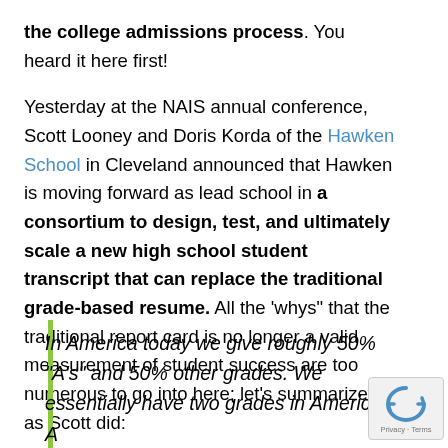the college admissions process.  You heard it here first!
Yesterday at the NAIS annual conference, Scott Looney and Doris Korda of the Hawken School in Cleveland announced that Hawken is moving forward as lead school in a consortium to design, test, and ultimately scale a new high school student transcript that can replace the traditional grade-based resume.  All the 'whys" that the traditional report card is no longer a valid measurement of student success are too numerous to go into here; let's summarize it as Scott did:
In America today we give roughly 50% "A's" and 50% other grades.  We essentially have two grades in America: A